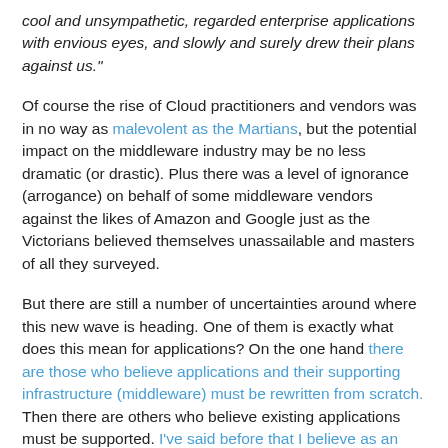cool and unsympathetic, regarded enterprise applications with envious eyes, and slowly and surely drew their plans against us."
Of course the rise of Cloud practitioners and vendors was in no way as malevolent as the Martians, but the potential impact on the middleware industry may be no less dramatic (or drastic). Plus there was a level of ignorance (arrogance) on behalf of some middleware vendors against the likes of Amazon and Google just as the Victorians believed themselves unassailable and masters of all they surveyed.
But there are still a number of uncertainties around where this new wave is heading. One of them is exactly what does this mean for applications? On the one hand there are those who believe applications and their supporting infrastructure (middleware) must be rewritten from scratch. Then there are others who believe existing applications must be supported. I've said before that I believe as an industry we need to be leveraging what we've been developing for the past few decades. Of course some things need to change and evolve, but if you look at what most people who are using or